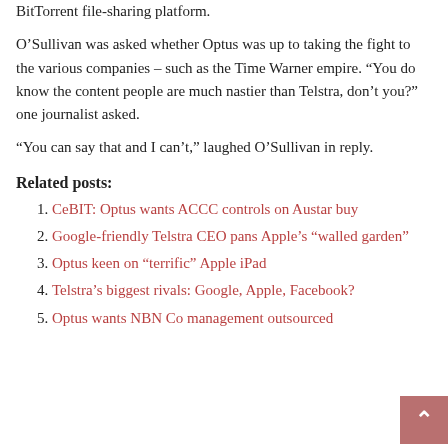BitTorrent file-sharing platform.
O’Sullivan was asked whether Optus was up to taking the fight to the various companies – such as the Time Warner empire. “You do know the content people are much nastier than Telstra, don’t you?” one journalist asked.
“You can say that and I can’t,” laughed O’Sullivan in reply.
Related posts:
CeBIT: Optus wants ACCC controls on Austar buy
Google-friendly Telstra CEO pans Apple’s “walled garden”
Optus keen on “terrific” Apple iPad
Telstra’s biggest rivals: Google, Apple, Facebook?
Optus wants NBN Co management outsourced